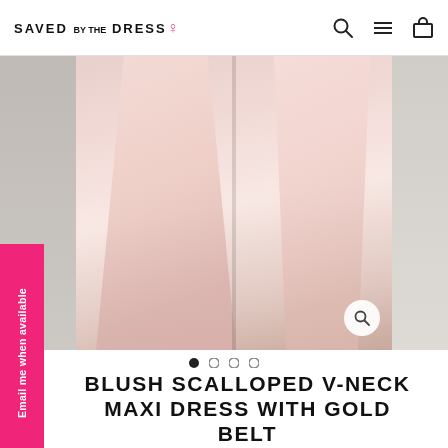SAVED BY THE DRESS
[Figure (photo): Product photo of a blush pink scalloped v-neck maxi dress with gold belt, showing the lower half of a model wearing the flowing pink dress]
BLUSH SCALLOPED V-NECK MAXI DRESS WITH GOLD BELT
$ 74.00
SIZE
Small  Medium  Large